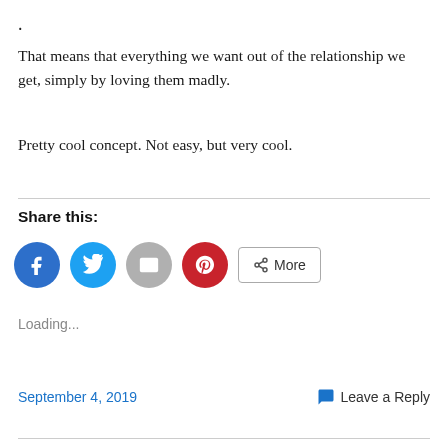.
That means that everything we want out of the relationship we get, simply by loving them madly.
Pretty cool concept. Not easy, but very cool.
Share this:
[Figure (other): Social share buttons: Facebook (blue circle), Twitter (light blue circle), Email (grey circle), Pinterest (red circle), More button]
Loading...
September 4, 2019    Leave a Reply